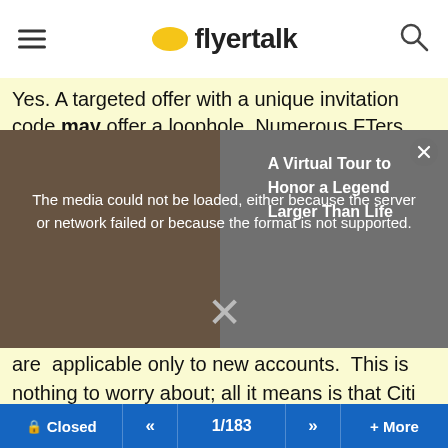flyertalk
Yes. A targeted offer with a unique invitation code may offer a loophole. Numerous FTers received physical mailers in late
[Figure (screenshot): Video player overlay showing error message: 'The media could not be loaded, either because the server or network failed or because the format is not supported.' with text 'A Virtual Tour to Honor a Legend Larger Than Life' and a close X button]
are applicable only to new accounts. This is nothing to worry about; all it means is that Citi won't retroactively match you to the offer on an account you already have; it doesn't disqualify someone who has a Citi AA card or has ever had one.
Other noteworthy aspects:
Closed  <<  1/183  >>  + More